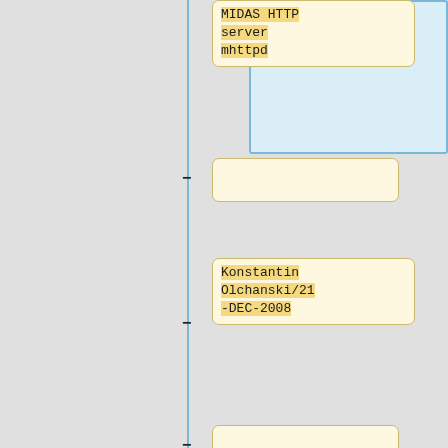[Figure (flowchart): Vertical flowchart/diff view showing wiki-style document nodes with monospace text content. Nodes include: 'MIDAS HTTP server mhttpd', an empty node, 'Konstantin Olchanski/21-DEC-2008', an empty node, '== Components ==', an empty node, '=== MIDAS Interface ===', and an empty node. A blue vertical line runs as a connector on the left side of the nodes, with a blue-bordered panel visible at top right.]